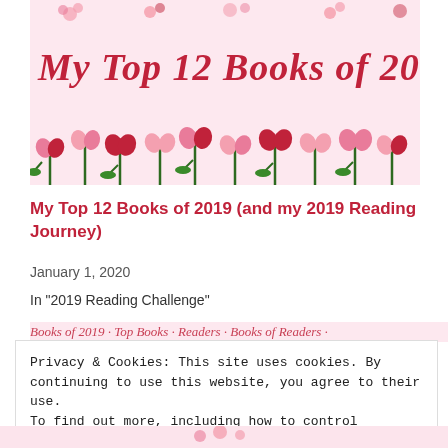[Figure (illustration): Blog header image with pink floral background and red script text reading 'My Top 12 Books of 2019', decorated with pink and red heart-shaped flowers on green stems along the bottom border.]
My Top 12 Books of 2019 (and my 2019 Reading Journey)
January 1, 2020
In "2019 Reading Challenge"
Privacy & Cookies: This site uses cookies. By continuing to use this website, you agree to their use. To find out more, including how to control cookies, see here: Cookie Policy
Close and accept